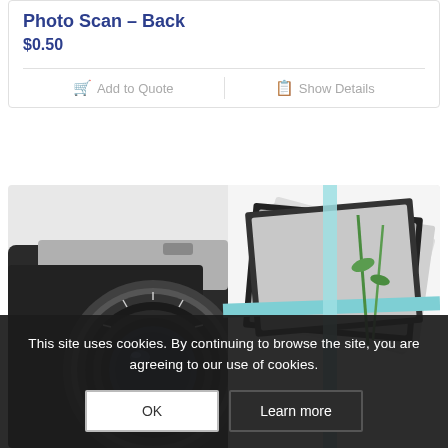Photo Scan – Back
$0.50
Add to Quote  |  Show Details
[Figure (photo): A vintage film camera with lens in the foreground and a stack of old photographs tied with a light blue ribbon on a white background]
This site uses cookies. By continuing to browse the site, you are agreeing to our use of cookies.
OK  Learn more